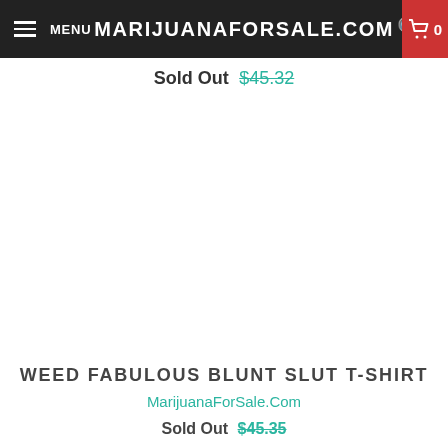MENU  MARIJUANAFORSALE.COM  0
Sold Out $45.32
[Figure (photo): White blank product image area for a t-shirt product listing]
WEED FABULOUS BLUNT SLUT T-SHIRT
MarijuanaForSale.Com
Sold Out $45.35